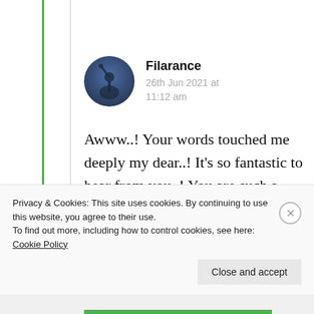Filarance
26th Jun 2021 at 11:12 am
Awww..! Your words touched me deeply my dear..! It’s so fantastic to hear from you..! You are such a sweet and kind
Privacy & Cookies: This site uses cookies. By continuing to use this website, you agree to their use.
To find out more, including how to control cookies, see here: Cookie Policy
Close and accept